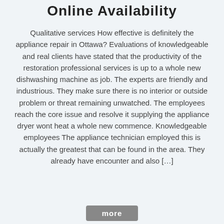Online Availability
Qualitative services How effective is definitely the appliance repair in Ottawa? Evaluations of knowledgeable and real clients have stated that the productivity of the restoration professional services is up to a whole new dishwashing machine as job. The experts are friendly and industrious. They make sure there is no interior or outside problem or threat remaining unwatched. The employees reach the core issue and resolve it supplying the appliance dryer wont heat a whole new commence. Knowledgeable employees The appliance technician employed this is actually the greatest that can be found in the area. They already have encounter and also […]
more